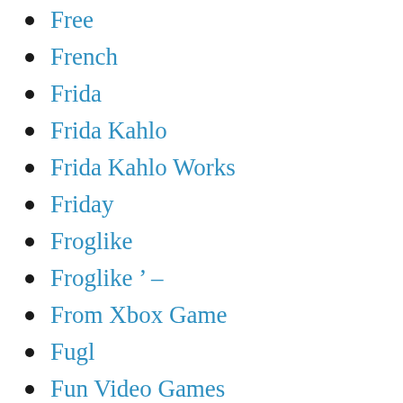Free
French
Frida
Frida Kahlo
Frida Kahlo Works
Friday
Froglike
Froglike ’ –
From Xbox Game
Fugl
Fun Video Games
Fury Special
Future
Gaita
Galarian
Game
Game ’